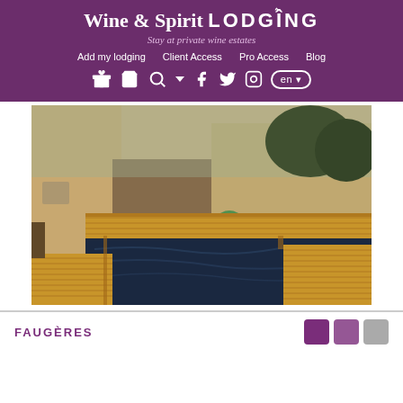Wine & Spirit LODGING — Stay at private wine estates
Wine & Spirit LODGING
Stay at private wine estates
Add my lodging   Client Access   Pro Access   Blog
[Figure (photo): A wooden deck terrace surrounding a dark-water swimming pool next to a stone building, viewed from above at an angle.]
FAUGÈRES